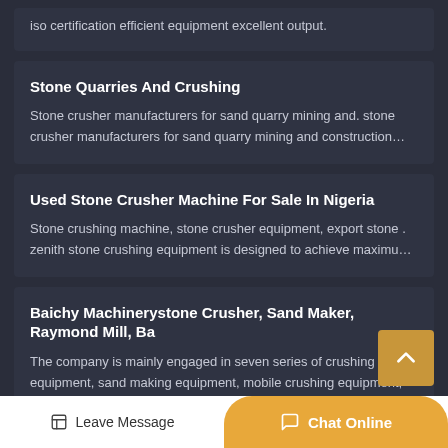iso certification efficient equipment excellent output.
Stone Quarries And Crushing
Stone crusher manufacturers for sand quarry mining and. stone crusher manufacturers for sand quarry mining and construction…
Used Stone Crusher Machine For Sale In Nigeria
Stone crushing machine, stone crusher equipment, export stone . zenith stone crushing equipment is designed to achieve maximu…
Baichy Machinerystone Crusher, Sand Maker, Raymond Mill, Ba
The company is mainly engaged in seven series of crushing equipment, sand making equipment, mobile crushing equipment,
Leave Message
Chat Online